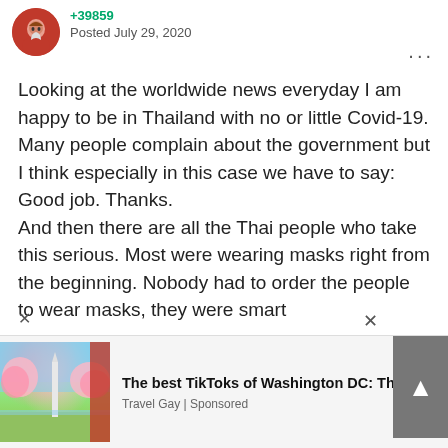+39859
Posted July 29, 2020
Looking at the worldwide news everyday I am happy to be in Thailand with no or little Covid-19.
Many people complain about the government but I think especially in this case we have to say: Good job. Thanks.
And then there are all the Thai people who take this serious. Most were wearing masks right from the beginning. Nobody had to order the people to wear masks, they were smart
[Figure (photo): Advertisement banner with image of Washington DC cherry blossoms and Washington Monument]
The best TikToks of Washington DC: Thin...
Travel Gay | Sponsored